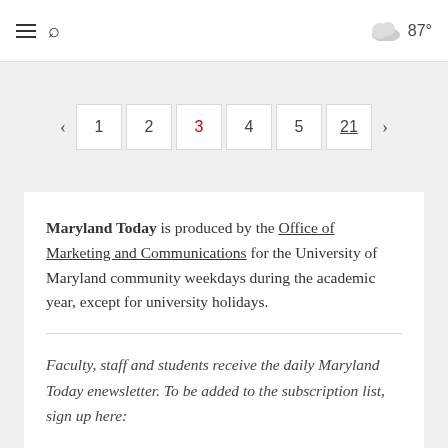≡ 🔍  87°
[Figure (other): Pagination controls showing pages < 1 2 3 4 5 21 > with page 3 highlighted in red and page 21 underlined]
Maryland Today is produced by the Office of Marketing and Communications for the University of Maryland community weekdays during the academic year, except for university holidays.
Faculty, staff and students receive the daily Maryland Today enewsletter. To be added to the subscription list, sign up here: